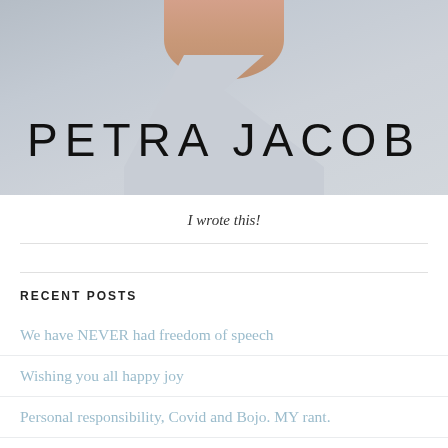[Figure (photo): Photo of Petra Jacob wearing a light grey v-neck top, with name 'PETRA JACOB' in large letters overlaid on the image]
I wrote this!
RECENT POSTS
We have NEVER had freedom of speech
Wishing you all happy joy
Personal responsibility, Covid and Bojo. MY rant.
Say goodbye to the foxes